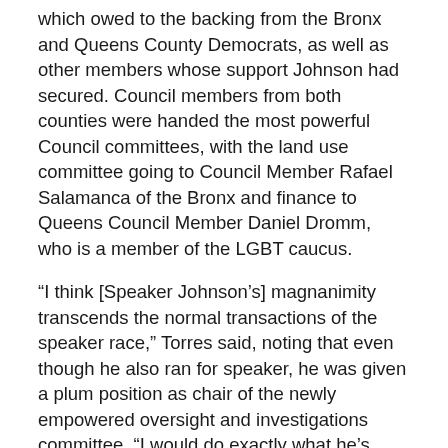which owed to the backing from the Bronx and Queens County Democrats, as well as other members whose support Johnson had secured. Council members from both counties were handed the most powerful Council committees, with the land use committee going to Council Member Rafael Salamanca of the Bronx and finance to Queens Council Member Daniel Dromm, who is a member of the LGBT caucus.
“I think [Speaker Johnson’s] magnanimity transcends the normal transactions of the speaker race,” Torres said, noting that even though he also ran for speaker, he was given a plum position as chair of the newly empowered oversight and investigations committee. “I would do exactly what he’s doing as speaker,” he added.
“Winning coalitions reward their members,” observed one Council Member, who asked to remain unnamed.
Assemblymember Glick conceded that the speakership